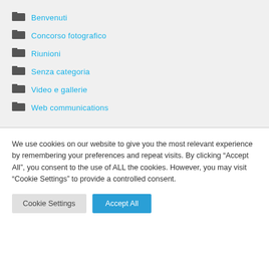Benvenuti
Concorso fotografico
Riunioni
Senza categoria
Video e gallerie
Web communications
We use cookies on our website to give you the most relevant experience by remembering your preferences and repeat visits. By clicking “Accept All”, you consent to the use of ALL the cookies. However, you may visit “Cookie Settings” to provide a controlled consent.
Cookie Settings | Accept All